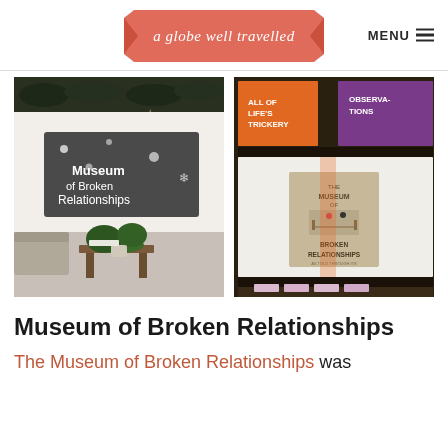a globe well travelled | MENU
[Figure (photo): Interior of the Museum of Broken Relationships showing a sign reading 'Museum of Broken Relationships' with a plant and table in the foreground, holiday decorations overhead]
[Figure (photo): Bookstore display showing 'The Museum of Broken Relationships' book surrounded by colorful boxed books labeled 'ALL OF LIFE'S TRICKERY' and 'OBSERVA-TIONS']
Museum of Broken Relationships
The Museum of Broken Relationships was